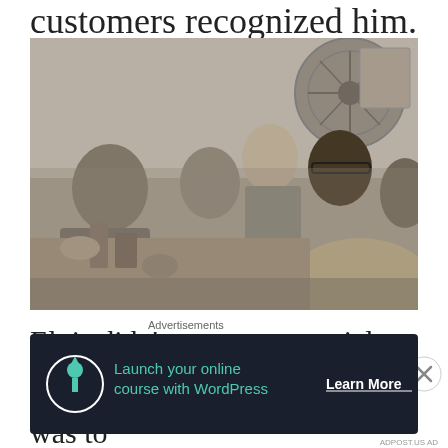customers recognized him.
[Figure (photo): Black and white photograph of men in military uniforms seated at a table, one man in the center facing the camera, others around him engaged in activity, a large fan visible in the background.]
Elvis didn't want any special treatment offered. His desire was to
Advertisements
[Figure (infographic): Advertisement banner with dark background: icon of person with tree, teal text reading 'Launch your online course with WordPress', and a 'Learn More' button in white text.]